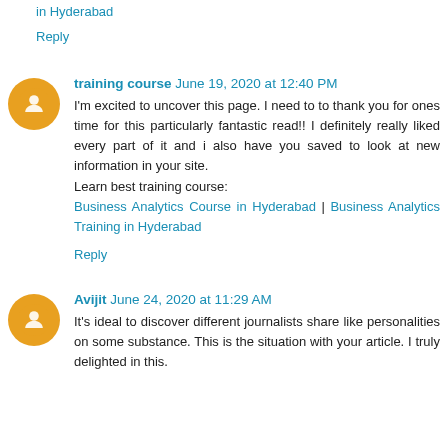in Hyderabad
Reply
training course  June 19, 2020 at 12:40 PM
I'm excited to uncover this page. I need to to thank you for ones time for this particularly fantastic read!! I definitely really liked every part of it and i also have you saved to look at new information in your site.
Learn best training course:
Business Analytics Course in Hyderabad | Business Analytics Training in Hyderabad
Reply
Avijit  June 24, 2020 at 11:29 AM
It's ideal to discover different journalists share like personalities on some substance. This is the situation with your article. I truly delighted in this.